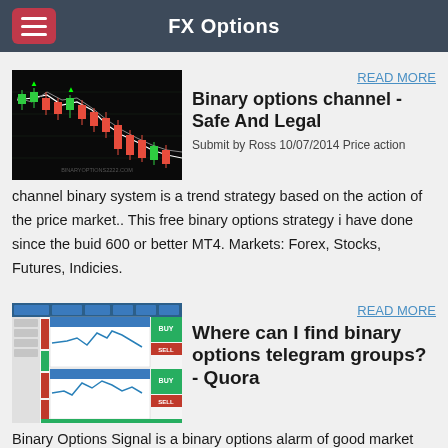FX Options
[Figure (screenshot): Candlestick chart showing price action with red and green candles on dark background, watermarked with BINARYOPTIONS2222.COM]
READ MORE
Binary options channel - Safe And Legal
Submit by Ross 10/07/2014 Price action channel binary system is a trend strategy based on the action of the price market.. This free binary options strategy i have done since the buid 600 or better MT4. Markets: Forex, Stocks, Futures, Indicies.
[Figure (screenshot): Binary options trading platform screenshot showing charts, signal indicators, red and green bars, buy/sell buttons]
READ MORE
Where can I find binary options telegram groups? - Quora
Binary Options Signal is a binary options alarm of good market conditions according to a binary options trading strategy.. It is well-